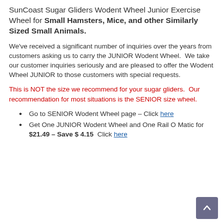SunCoast Sugar Gliders Wodent Wheel Junior Exercise Wheel for Small Hamsters, Mice, and other Similarly Sized Small Animals.
We've received a significant number of inquiries over the years from customers asking us to carry the JUNIOR Wodent Wheel.  We take our customer inquiries seriously and are pleased to offer the Wodent Wheel JUNIOR to those customers with special requests.
This is NOT the size we recommend for your sugar gliders.  Our recommendation for most situations is the SENIOR size wheel.
Go to SENIOR Wodent Wheel page – Click here
Get One JUNIOR Wodent Wheel and One Rail O Matic for $21.49 – Save $ 4.15  Click here